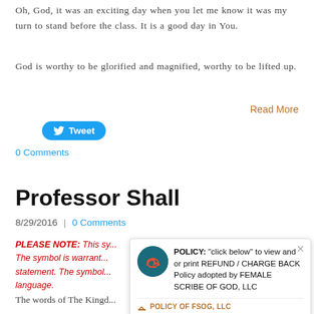Oh, God, it was an exciting day when you let me know it was my turn to stand before the class. It is a good day in You.
God is worthy to be glorified and magnified, worthy to be lifted up.
Read More
Tweet
0 Comments
Professor Shall
8/29/2016 | 0 Comments
PLEASE NOTE: This sy... The symbol is warrant... statement. The symbol... language.
POLICY: "click below" to view and or print REFUND / CHARGE BACK Policy adopted by FEMALE SCRIBE OF GOD, LLC
POLICY OF FSOG, LLC
The words of The Kingd...